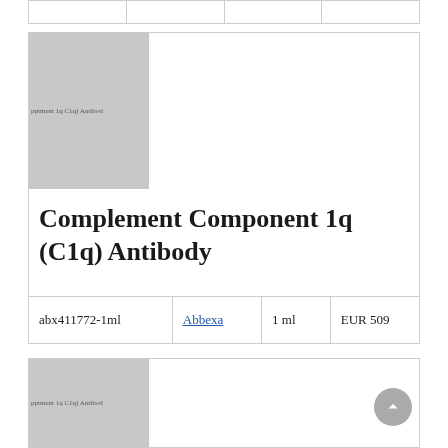|  |  |  |  |
| --- | --- | --- | --- |
|   |   |   |   |
[Figure (photo): Product image placeholder for Complement Component 1q (C1q) Antibody, showing gray image box with partial label text]
Complement Component 1q (C1q) Antibody
|  | Supplier | Size | Price |
| --- | --- | --- | --- |
| abx411772-1ml | Abbexa | 1 ml | EUR 509 |
[Figure (photo): Second product image placeholder, gray box with partial label text]